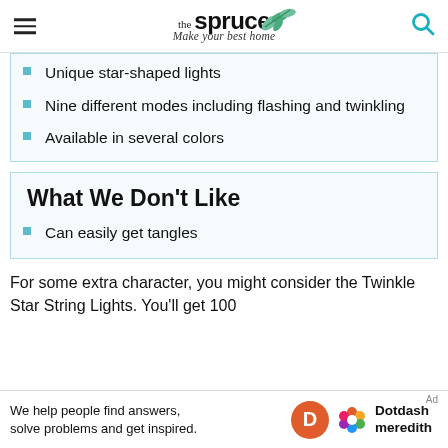the spruce — Make your best home
Unique star-shaped lights
Nine different modes including flashing and twinkling
Available in several colors
What We Don't Like
Can easily get tangles
For some extra character, you might consider the Twinkle Star String Lights. You'll get 100...